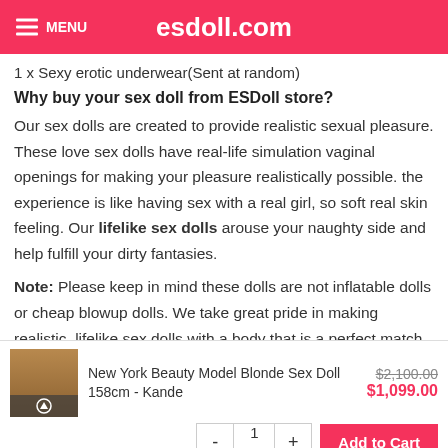MENU   esdoll.com
1 x Sexy erotic underwear(Sent at random)
Why buy your sex doll from ESDoll store?
Our sex dolls are created to provide realistic sexual pleasure. These love sex dolls have real-life simulation vaginal openings for making your pleasure realistically possible. the experience is like having sex with a real girl, so soft real skin feeling. Our lifelike sex dolls arouse your naughty side and help fulfill your dirty fantasies.
Note: Please keep in mind these dolls are not inflatable dolls or cheap blowup dolls. We take great pride in making realistic, lifelike sex dolls with a body that is a perfect match to a real girl's body
[Figure (photo): Thumbnail image of New York Beauty Model Blonde Sex Doll 158cm - Kande]
New York Beauty Model Blonde Sex Doll 158cm - Kande  $2,100.00  $1,099.00